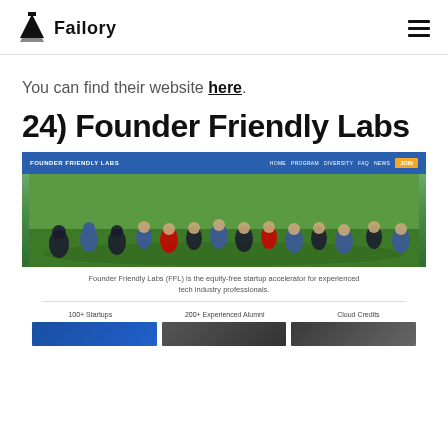Failory
You can find their website here.
24) Founder Friendly Labs
[Figure (screenshot): Screenshot of Founder Friendly Labs website showing blue navigation bar with 'FOUNDER FRIENDLY LABS' logo and nav links (HOME, PROGRAM, DIVERSITY, FAQ, NEWS) plus orange JOIN button, and aerial photo of a large group of people standing on grass waving at camera.]
Founder Friendly Labs (FFL) is the equity-free startup accelerator for experienced tech industry professionals.
100+ Startups    200+ Experienced Alumni    Cloud Credits